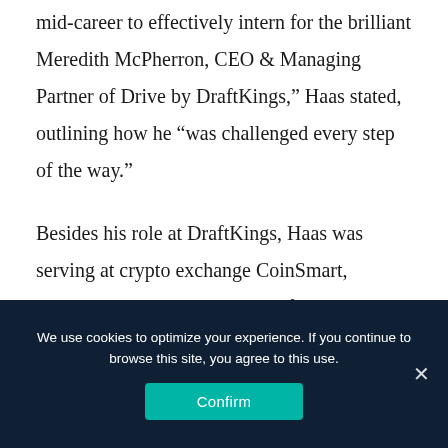"I was fortunate to be given a phenomenal opportunity mid-career to effectively intern for the brilliant Meredith McPherron, CEO & Managing Partner of Drive by DraftKings," Haas stated, outlining how he "was challenged every step of the way."

Besides his role at DraftKings, Haas was serving at crypto exchange CoinSmart, initially as a Strategic Advisor, from January 2019 until November 2021, when he was elected as a Board Member, a role he is currently
We use cookies to optimize your experience. If you continue to browse this site, you agree to this use.
Confirm